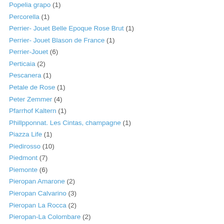Popelia grapo (1)
Percorella (1)
Perrier- Jouet Belle Epoque Rose Brut (1)
Perrier- Jouet Blason de France (1)
Perrier-Jouet (6)
Perticaia (2)
Pescanera (1)
Petale de Rose (1)
Peter Zemmer (4)
Pfarrhof Kaltern (1)
Phillpponnat. Les Cintas, champagne (1)
Piazza Life (1)
Piedirosso (10)
Piedmont (7)
Piemonte (6)
Pieropan Amarone (2)
Pieropan Calvarino (3)
Pieropan La Rocca (2)
Pieropan-La Colombare (2)
Pierre Gimonnet Champagne (2)